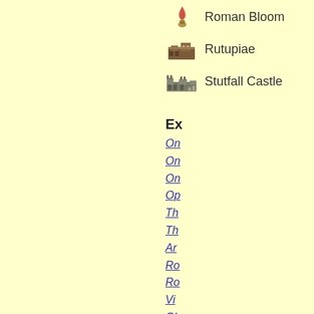Roman Bloom
Rutupiae
Stutfall Castle
Ex
On
On
On
Op
Th
Th
Ar
Ro
Ro
Vi
Gl
Th
Go
Ge
Ju
Wi